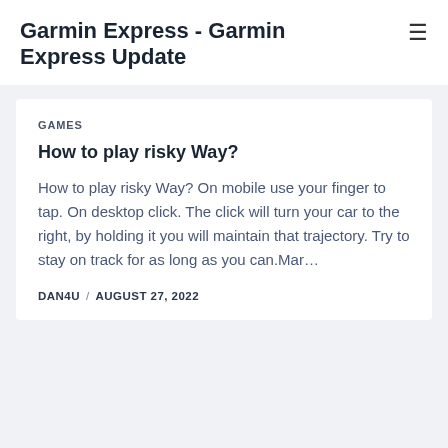Garmin Express - Garmin Express Update
GAMES
How to play risky Way?
How to play risky Way? On mobile use your finger to tap. On desktop click. The click will turn your car to the right, by holding it you will maintain that trajectory. Try to stay on track for as long as you can.Mar…
DAN4U / AUGUST 27, 2022